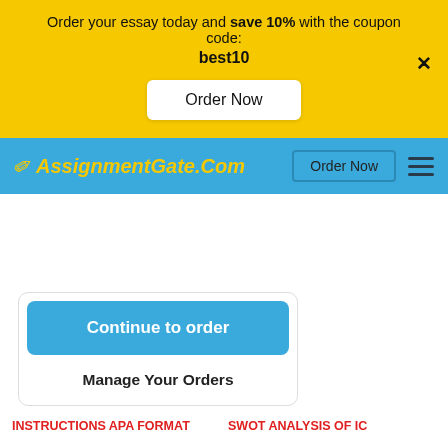Order your essay today and save 10% with the coupon code: best10
Order Now
[Figure (screenshot): AssignmentGate.Com logo with pencil icon in yellow on blue navigation bar]
Order Now
Continue to order
Manage Your Orders
INSTRUCTIONS APA FORMAT
SWOT ANALYSIS OF IC